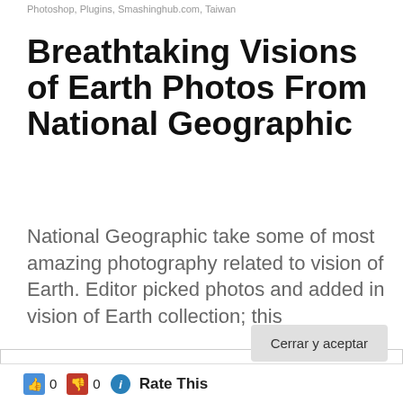Photoshop, Plugins, Smashinghub.com, Taiwan
Breathtaking Visions of Earth Photos From National Geographic
National Geographic take some of most amazing photography related to vision of Earth. Editor picked photos and added in vision of Earth collection; this
Privacidad y cookies: este sitio utiliza cookies. Al continuar utilizando esta web, aceptas su uso.
Para obtener más información, incluido cómo controlar las cookies, consulta aquí: Política de cookies
Cerrar y aceptar
0  0  Rate This